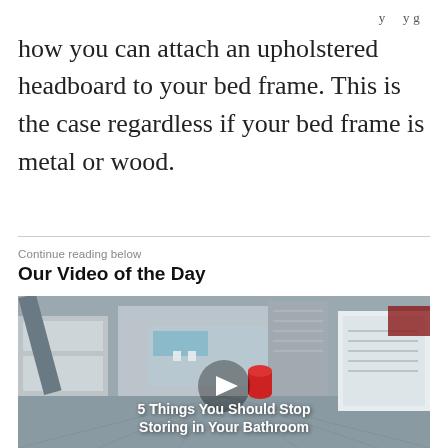how you can attach an upholstered headboard to your bed frame. This is the case regardless if your bed frame is metal or wood.
Continue reading below
Our Video of the Day
[Figure (screenshot): Video thumbnail showing a 3D rendered bathroom/kitchen scene with text overlay '5 Things You Should Stop Storing in Your Bathroom' and a play button]